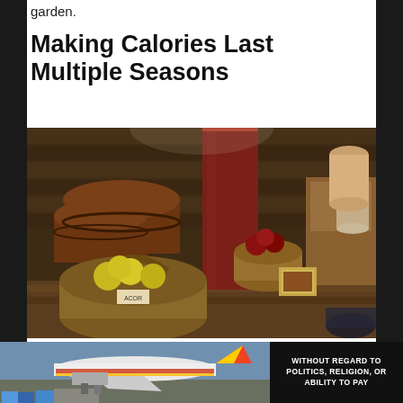garden.
Making Calories Last Multiple Seasons
[Figure (photo): A root cellar or storage room interior with barrels, baskets of fruit (yellow/green apples in wicker basket in foreground), wooden crates, bushel basket with red apples, glass jars, and other food storage items on a wooden floor against wooden walls.]
As for producing a big chunk of the
[Figure (photo): Advertisement banner showing an airplane being loaded with cargo, and a dark box with white text reading WITHOUT REGARD TO / POLITICS, RELIGION, OR ABILITY TO PAY]